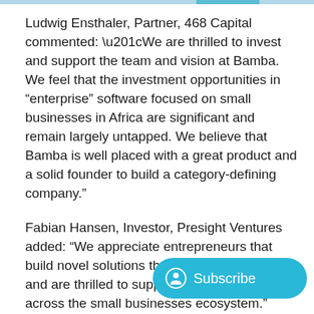Ludwig Ensthaler, Partner, 468 Capital commented: “We are thrilled to invest and support the team and vision at Bamba. We feel that the investment opportunities in "enterprise" software focused on small businesses in Africa are significant and remain largely untapped. We believe that Bamba is well placed with a great product and a solid founder to build a category-defining company.”
Fabian Hansen, Investor, Presight Ventures added: “We appreciate entrepreneurs that build novel solutions that push boundaries and are thrilled to support Bamba’s potential across the small businesses ecosystem.”